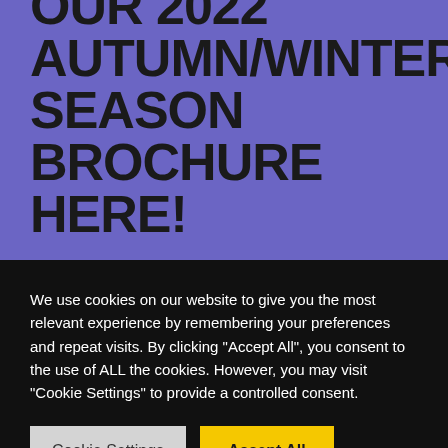DOWNLOAD YOUR COPY OF OUR 2022 AUTUMN/WINTER SEASON BROCHURE HERE!
We use cookies on our website to give you the most relevant experience by remembering your preferences and repeat visits. By clicking "Accept All", you consent to the use of ALL the cookies. However, you may visit "Cookie Settings" to provide a controlled consent.
Cookie Settings | Accept All